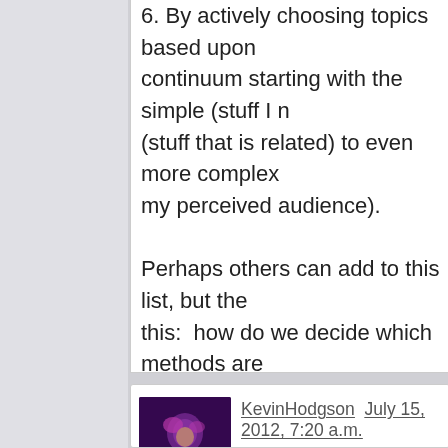6. By actively choosing topics based upon a continuum starting with the simple (stuff I know) (stuff that is related) to even more complex my perceived audience).

Perhaps others can add to this list, but the this:  how do we decide which methods are curation event we are seeking to promote?
[Figure (photo): Avatar/profile photo of KevinHodgson showing a person with pink/purple hair performing or singing, dark background with purple lighting]
KevinHodgson  July 15, 2012, 7:20 a.m.
In Reply To:  Tellio  July 15, 2012, 7:13 a.
Dare I bring Rummy into the mix?
http://youtu.be/jtkUO8NpI84